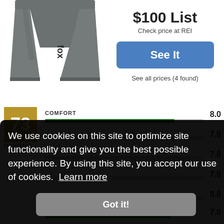[Figure (photo): Gray athletic/cycling shorts with dark logo text on leg]
$100 List
Check price at REI
See It
See all prices (4 found)
73
OVERALL
COMFORT
8.0
7.0
7.0
7.0
8.0
7.0
We use cookies on this site to optimize site functionality and give you the best possible experience. By using this site, you accept our use of cookies.  Learn more
Got it!